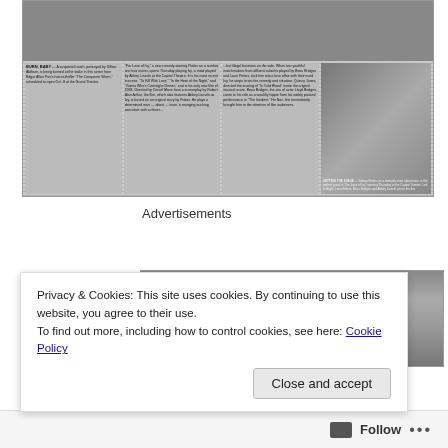[Figure (photo): Newspaper clipping showing articles and photos about Sidney Poitier in 'For Love of Ivy', with text columns and photographs of cast members including Beau Bridges and Abbey Lincoln]
Advertisements
[Figure (photo): Second newspaper clipping, partially visible, grayscale image]
Privacy & Cookies: This site uses cookies. By continuing to use this website, you agree to their use.
To find out more, including how to control cookies, see here: Cookie Policy
Close and accept
Follow